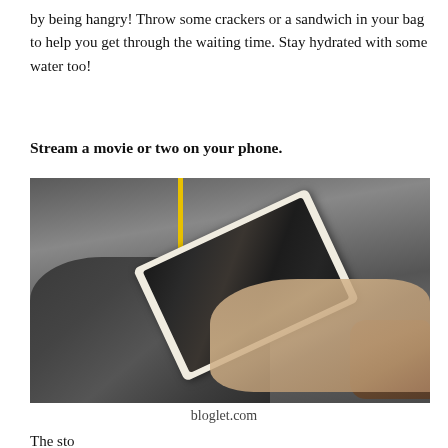by being hangry! Throw some crackers or a sandwich in your bag to help you get through the waiting time. Stay hydrated with some water too!
Stream a movie or two on your phone.
[Figure (photo): A person holding a smartphone horizontally and watching a movie on it, sitting on public transit. A yellow pole is visible in the background. A blue water bottle is to the left, and a brown boot is visible at the right edge.]
bloglet.com
The text is cut off at the bottom of the page.